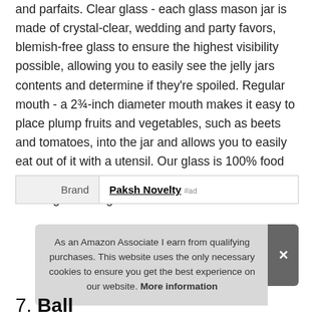and parfaits. Clear glass - each glass mason jar is made of crystal-clear, wedding and party favors, blemish-free glass to ensure the highest visibility possible, allowing you to easily see the jelly jars contents and determine if they're spoiled. Regular mouth - a 2¾-inch diameter mouth makes it easy to place plump fruits and vegetables, such as beets and tomatoes, into the jar and allows you to easily eat out of it with a utensil. Our glass is 100% food safe and lead-free for healthy food storage and beverage drinking.
| Brand | Value |
| --- | --- |
| Brand | Paksh Novelty #ad |
As an Amazon Associate I earn from qualifying purchases. This website uses the only necessary cookies to ensure you get the best experience on our website. More information
7. Ball